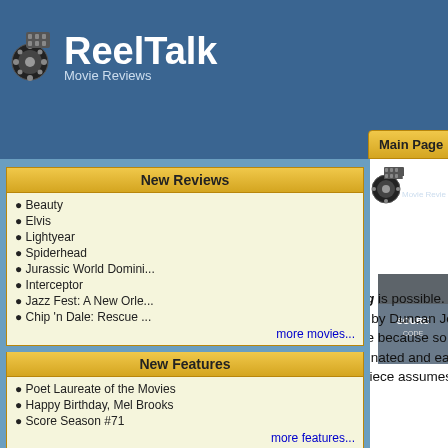ReelTalk Movie Reviews
New Reviews
Beauty
Elvis
Lightyear
Spiderhead
Jurassic World Domini...
Interceptor
Jazz Fest: A New Orle...
Chip 'n Dale: Rescue ...
more movies...
New Features
Poet Laureate of the Movies
Happy Birthday, Mel Brooks
Score Season #71
more features...
Navigation
ReelTalk Home Page
Movies
Features
Forum
Search
Contests
Suspenseful Quantum Thriller
by Betty Jo Tucker
Quantum genre films lead us to believe anything is possible. In Source Code, we see that idea played out in a suspenseful sci-fi thriller directed by Duncan Jones and starring Jake Gyllenhaal. We may feel befuddled while watching this movie because so much of what's happening seems and obscure to us, but we can't help feeling fascinated and eager to connect the dots. How as in all quantum genre offerings, the unusual of the piece assumes more importance than ah dots put together.